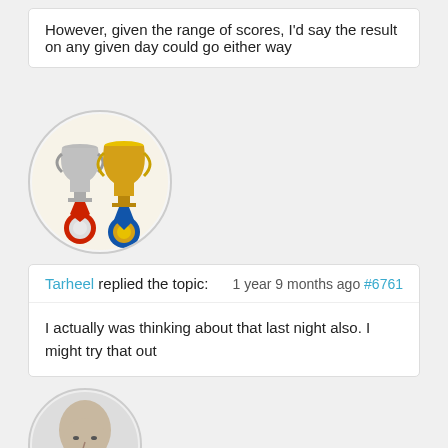However, given the range of scores, I'd say the result on any given day could go either way
[Figure (illustration): Circular avatar showing a silver trophy with red ribbon medal and a gold trophy with blue ribbon medal, side by side]
Tarheel replied the topic:        1 year 9 months ago #6761
I actually was thinking about that last night also. I might try that out
[Figure (photo): Circular avatar showing a bald man's face, partially visible at the bottom of the page]